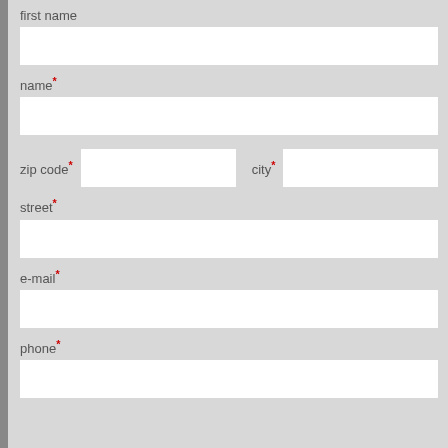first name
name*
zip code* city*
street*
e-mail*
phone*